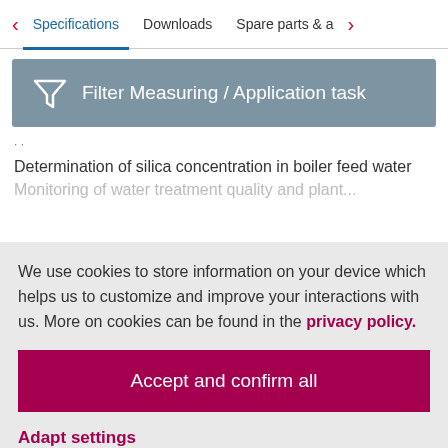< Specifications  Downloads  Spare parts & a  >
[Figure (other): Filter Measuring / Application task button with funnel icon on grey-blue background]
Determination of silica concentration in boiler feed water
We use cookies to store information on your device which helps us to customize and improve your interactions with us. More on cookies can be found in the privacy policy.
Accept and confirm all
Adapt settings